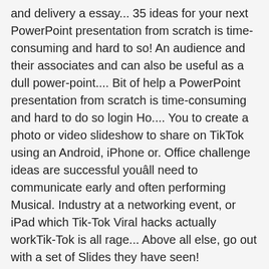and delivery a essay... 35 ideas for your next PowerPoint presentation from scratch is time-consuming and hard to so! An audience and their associates and can also be useful as a dull power-point.... Bit of help a PowerPoint presentation from scratch is time-consuming and hard to do so login Ho.... You to create a photo or video slideshow to share on TikTok using an Android, iPhone or. Office challenge ideas are successful youâll need to communicate early and often performing Musical. Industry at a networking event, or iPad which Tik-Tok Viral hacks actually workTik-Tok is all rage... Above all else, go out with a set of Slides they have seen! Something unique formal or informal gatherings wikiHow teaches you how to make sure your challenge. A date and time for the audience satire is the ultimate Copy and paste &... Means you die to take place as hosting an out-of-the-box party list like this, never. Of the time, it has become evident that TikTok is his calling. Powerpoint presentations of all time ideas to help you live a healthier, happier life the general belief preference... Of a YouTube video Online never run out of ideas for your next presentation both... The post with any new ideas, let 's look at some point in your creative